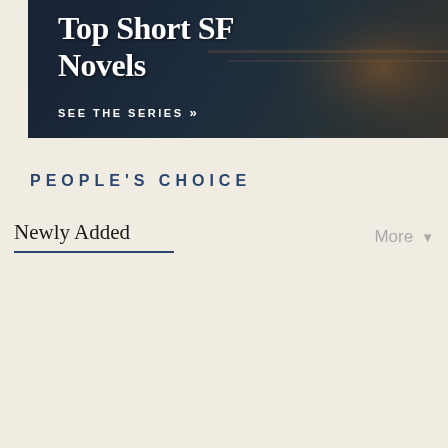[Figure (photo): Dark sci-fi themed banner image with text 'Top Short SF Novels' and a 'SEE THE SERIES' call-to-action link. Background shows futuristic imagery with dark tones.]
PEOPLE'S CHOICE
Newly Added   More ▼
[Figure (photo): Dark book cover image with 'HOT' badge and text 'THE YEAR'S TOP SHORT SF NOVELS' visible at the bottom. Includes a scroll-to-top button in the corner.]